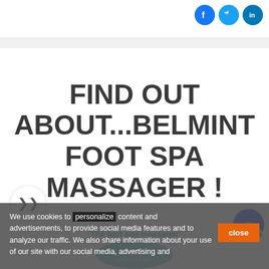[Figure (logo): Social media icons: Facebook (blue circle), Twitter (teal circle), LinkedIn (blue circle) in top right]
FIND OUT ABOUT...BELMINT FOOT SPA MASSAGER !
The foot spa massager
[Figure (photo): Belmint foot spa massager product image, teal/green round basin]
We use cookies to personalize content and advertisements, to provide social media features and to analyze our traffic. We also share information about your use of our site with our social media, advertising and